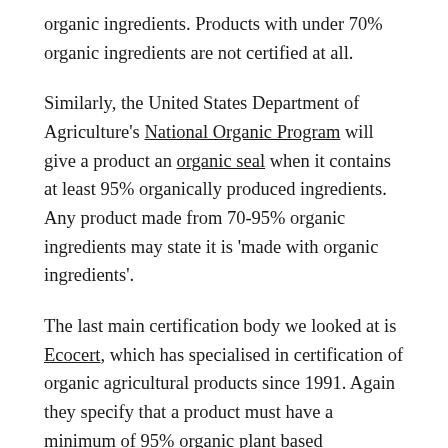organic ingredients. Products with under 70% organic ingredients are not certified at all.
Similarly, the United States Department of Agriculture's National Organic Program will give a product an organic seal when it contains at least 95% organically produced ingredients. Any product made from 70-95% organic ingredients may state it is 'made with organic ingredients'.
The last main certification body we looked at is Ecocert, which has specialised in certification of organic agricultural products since 1991. Again they specify that a product must have a minimum of 95% organic plant based ingredients (and 10% overall by